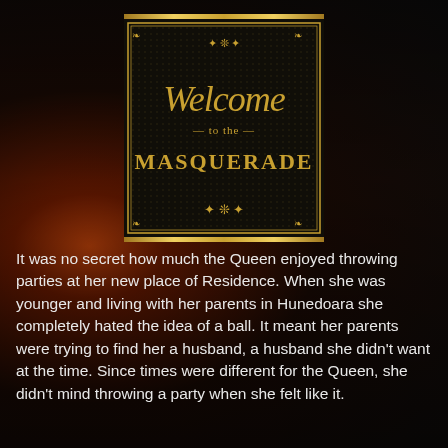[Figure (illustration): Decorative masquerade ball logo with ornate gold border on black background. Text reads 'Welcome to the MASQUERADE' in gold script and serif lettering, with gold ornamental flourishes and decorative border. Gold horizontal bars frame the top and bottom of the logo.]
It was no secret how much the Queen enjoyed throwing parties at her new place of Residence. When she was younger and living with her parents in Hunedoara she completely hated the idea of a ball. It meant her parents were trying to find her a husband, a husband she didn't want at the time. Since times were different for the Queen, she didn't mind throwing a party when she felt like it.